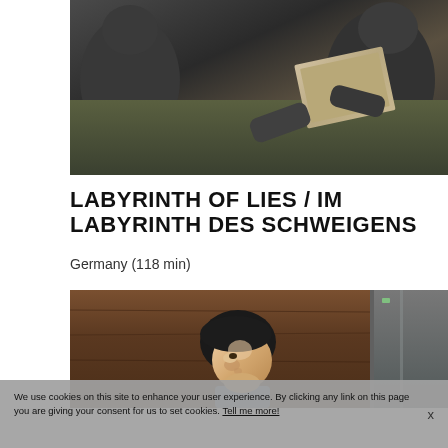[Figure (photo): Dark cinematic still showing figures around a table with a photograph being examined]
LABYRINTH OF LIES / IM LABYRINTH DES SCHWEIGENS
Germany (118 min)
[Figure (photo): Cinematic still of a young man with dark hair leaning against a wood-paneled wall, looking upward]
We use cookies on this site to enhance your user experience. By clicking any link on this page you are giving your consent for us to set cookies. Tell me more!